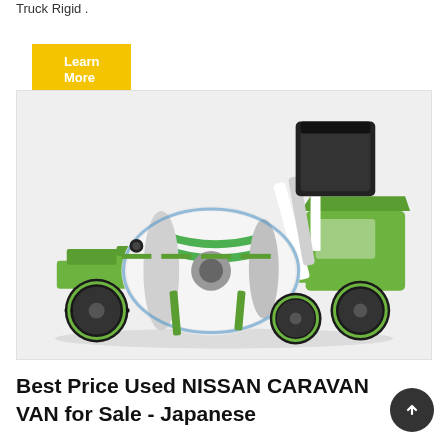Truck Rigid .
Learn More
[Figure (photo): A green self-loading concrete mixer truck photographed on a light grey/white background. The vehicle has large black off-road tires, a rotating drum mixer in the center, a black hopper on top, and a cab on the right side. The machine is green and white with visible hydraulic arms.]
Best Price Used NISSAN CARAVAN VAN for Sale - Japanese